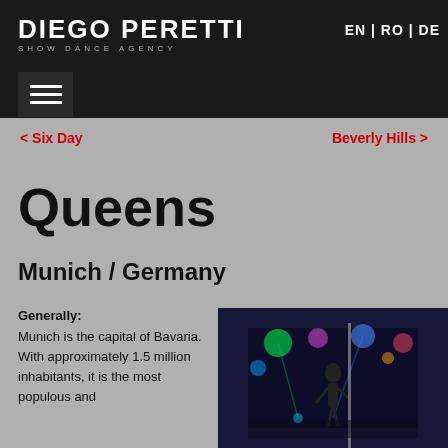DIEGO PERETTI SHOW DANCE AGENCY | EN | RO | DE
< Six Day
Beverly Hills >
Queens
Munich / Germany
Generally:
Munich is the capital of Bavaria. With approximately 1.5 million inhabitants, it is the most populous and
[Figure (photo): Nightclub interior scene with colorful lights, a performer on stage, and neon lighting in blues and greens]